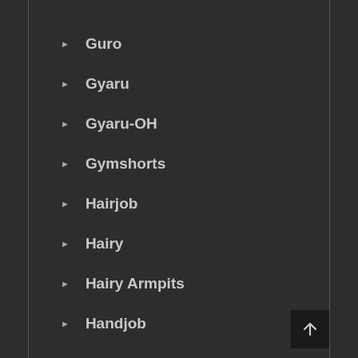Guro
Gyaru
Gyaru-OH
Gymshorts
Hairjob
Hairy
Hairy Armpits
Handjob
Harem
Harness
Harpy
Hentai
Heterochromia